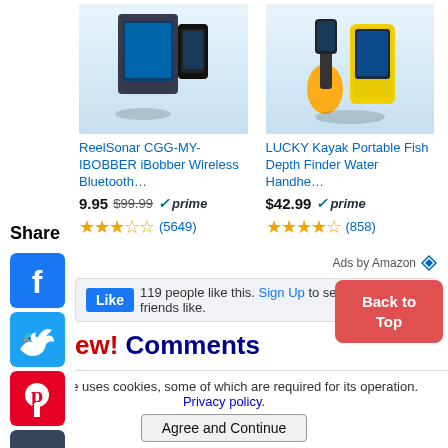[Figure (screenshot): Product image area for ReelSonar CGG-MY-IBOBBER and LUCKY Kayak fish finders at top of page]
ReelSonar CGG-MY-IBOBBER iBobber Wireless Bluetooth…
LUCKY Kayak Portable Fish Depth Finder Water Handhe…
9.95  $99.99  ✓prime
★★★☆☆ (5649)
$42.99  ✓prime
★★★★☆ (858)
Ads by Amazon
Share
[Figure (infographic): Social share icons: Facebook, Twitter, Pinterest, Tumblr, Reddit, WhatsApp, Messenger]
Like  119 people like this. Sign Up to see what your friends like.
ew! Comments
ve your say about what you've just read! Leave me a comment in the box below.
Recent Articles
Back to Top
This site uses cookies, some of which are required for its operation. Privacy policy.
Agree and Continue